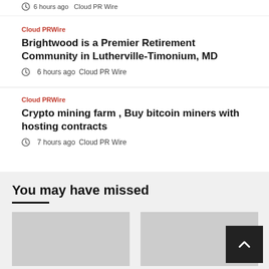6 hours ago   Cloud PR Wire
Cloud PRWire
Brightwood is a Premier Retirement Community in Lutherville-Timonium, MD
6 hours ago   Cloud PR Wire
Cloud PRWire
Crypto mining farm , Buy bitcoin miners with hosting contracts
7 hours ago   Cloud PR Wire
You may have missed
[Figure (photo): Thumbnail image placeholder left]
[Figure (photo): Thumbnail image placeholder right]